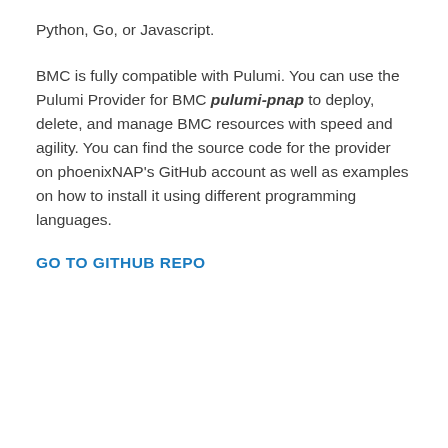Python, Go, or Javascript.
BMC is fully compatible with Pulumi. You can use the Pulumi Provider for BMC pulumi-pnap to deploy, delete, and manage BMC resources with speed and agility. You can find the source code for the provider on phoenixNAP's GitHub account as well as examples on how to install it using different programming languages.
GO TO GITHUB REPO